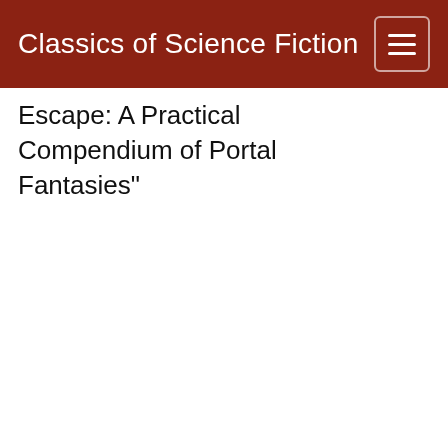Classics of Science Fiction
Escape: A Practical Compendium of Portal Fantasies"
| Year | Publication |
| --- | --- |
|  | Nebula finalist - story |
|  | Hugo winner - story |
| 2019 | The Best Science Fiction & Fantasy of the Year: Volume Thirteen edited by Jonathan Strahan |
| 2019 | The Year's Best Science |